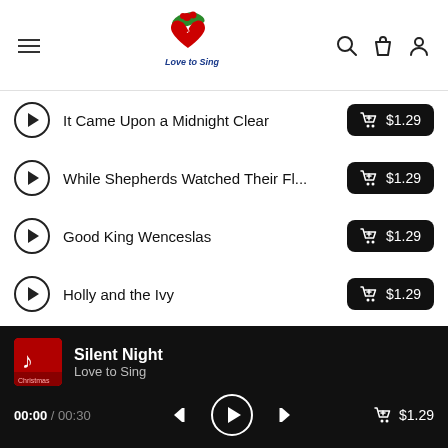Love to Sing — navigation header with logo, menu, search, cart, and profile icons
It Came Upon a Midnight Clear — $1.29
While Shepherds Watched Their Fl... — $1.29
Good King Wenceslas — $1.29
Holly and the Ivy — $1.29
The Friendly Beasts — $1.29
Silent Night — Love to Sing — 00:00 / 00:30 — $1.29